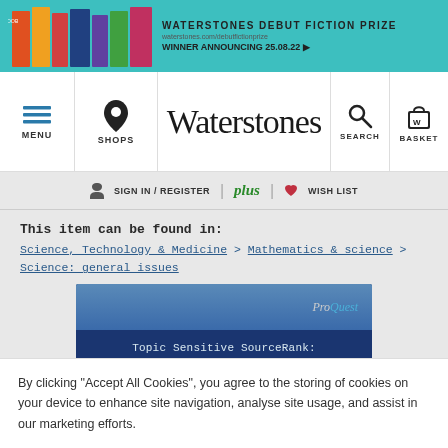[Figure (screenshot): Waterstones website banner advertising Debut Fiction Prize, winner announcing 25.08.22]
Waterstones - MENU | SHOPS | SEARCH | BASKET
SIGN IN / REGISTER | plus | WISH LIST
This item can be found in: Science, Technology & Medicine > Mathematics & science > Science: general issues
[Figure (illustration): Book cover for 'Topic Sensitive SourceRank: Extending SourceRank for Performing Context-Sensitive Search over Deep Web.' with ProQuest branding]
By clicking "Accept All Cookies", you agree to the storing of cookies on your device to enhance site navigation, analyse site usage, and assist in our marketing efforts.